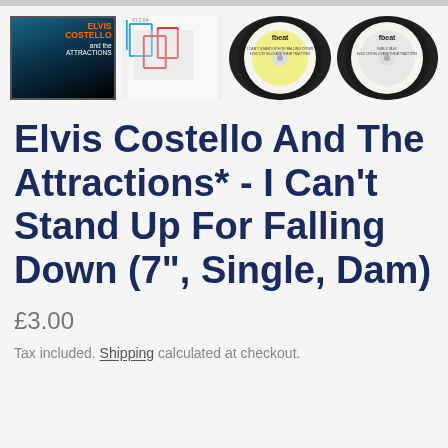[Figure (photo): Four thumbnail images of Elvis Costello And The Attractions record: album cover (black background with orange text), inner sleeve (white with coloured rectangles and band photo), and two F-Beat vinyl record labels (yellow/white).]
Elvis Costello And The Attractions* - I Can't Stand Up For Falling Down (7", Single, Dam)
£3.00
Tax included. Shipping calculated at checkout.